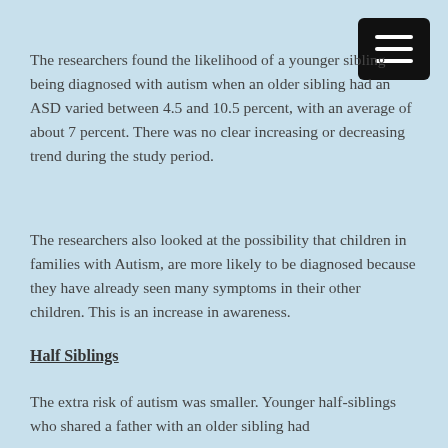The researchers found the likelihood of a younger sibling being diagnosed with autism when an older sibling had an ASD varied between 4.5 and 10.5 percent, with an average of about 7 percent. There was no clear increasing or decreasing trend during the study period.
The researchers also looked at the possibility that children in families with Autism, are more likely to be diagnosed because they have already seen many symptoms in their other children. This is an increase in awareness.
Half Siblings
The extra risk of autism was smaller. Younger half-siblings who shared a father with an older sibling had